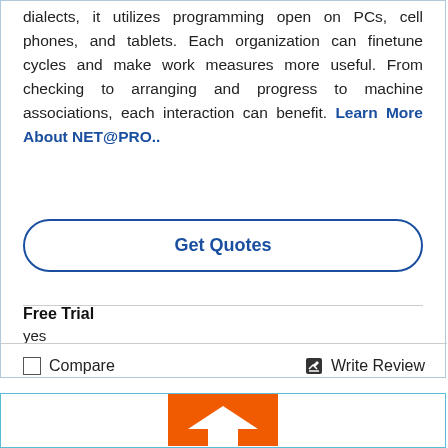dialects, it utilizes programming open on PCs, cell phones, and tablets. Each organization can finetune cycles and make work measures more useful. From checking to arranging and progress to machine associations, each interaction can benefit. Learn More About NET@PRO..
Get Quotes
Free Trial
yes
Compare
Write Review
[Figure (logo): Orange square logo with white arrow/chevron icon, partially visible at bottom of page]